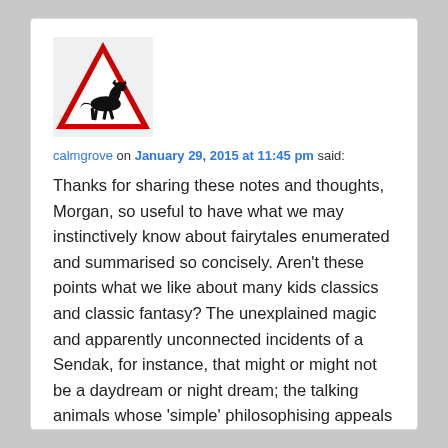[Figure (illustration): Warning road sign with red triangle border containing a silhouette of a unicorn (horse with horn) on a white background]
calmgrove on January 29, 2015 at 11:45 pm said:
Thanks for sharing these notes and thoughts, Morgan, so useful to have what we may instinctively know about fairytales enumerated and summarised so concisely. Aren't these points what we like about many kids classics and classic fantasy? The unexplained magic and apparently unconnected incidents of a Sendak, for instance, that might or might not be a daydream or night dream; the talking animals whose 'simple' philosophising appeals so much in a Pooh story; the nightmarish antagonists in a Gaiman fantasy like "Neverwhere" whom the protagonist has to counter with contorted logic and Magical Helpers; all these tell us as much if not more about the human spirit and experience than many a 'realistic'